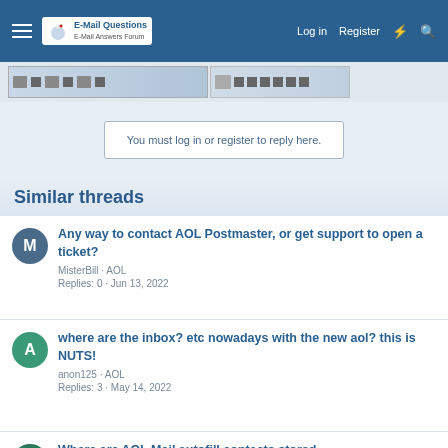E-Mail Questions — Log in  Register
[Figure (screenshot): Toolbar/ribbon strip with icons]
You must log in or register to reply here.
Similar threads
Any way to contact AOL Postmaster, or get support to open a ticket? | MisterBill · AOL | Replies: 0 · Jun 13, 2022
where are the inbox? etc nowadays with the new aol? this is NUTS! | anon125 · AOL | Replies: 3 · May 14, 2022
Where are AOL Mail autofill contacts stored | dg_moore · AOL